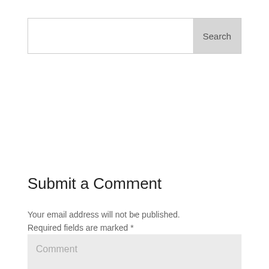[Figure (screenshot): Search bar with text input field on the left and a 'Search' button on the right with light gray background]
Submit a Comment
Your email address will not be published. Required fields are marked *
[Figure (screenshot): Comment text area input field with placeholder text 'Comment' on light gray background]